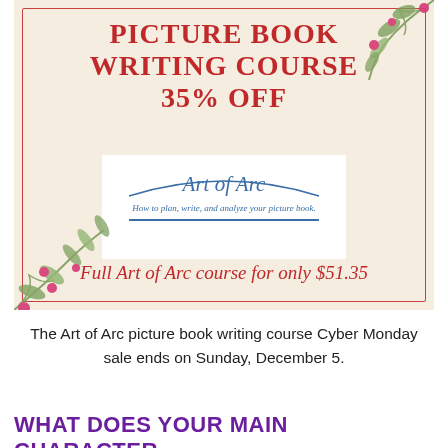[Figure (illustration): Promotional banner for 'Picture Book Writing Course 35% OFF' featuring the Art of Arc course logo on a cream background with red border and decorative botanical/floral elements in corners. Text reads 'Full Art of Arc course for only $51.35'.]
The Art of Arc picture book writing course Cyber Monday sale ends on Sunday, December 5.
WHAT DOES YOUR MAIN CHARACTER